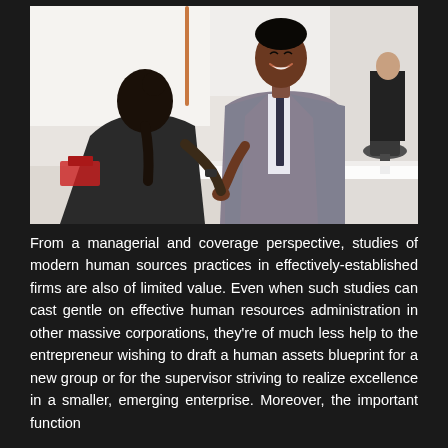[Figure (photo): Two business professionals shaking hands across a table in a modern office setting. A man in a grey suit and tie leans forward smiling, shaking hands with a woman with dark hair in a bun. A third person is visible in the background.]
From a managerial and coverage perspective, studies of modern human sources practices in effectively-established firms are also of limited value. Even when such studies can cast gentle on effective human resources administration in other massive corporations, they're of much less help to the entrepreneur wishing to draft a human assets blueprint for a new group or for the supervisor striving to realize excellence in a smaller, emerging enterprise. Moreover, the important function